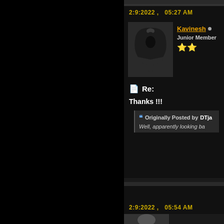2:9:2022 ,   05:27 AM
Kavinesh • Junior Member
[Figure (photo): Dark silhouette of a hooded figure against a grey background]
Re:
Thanks !!!
Originally Posted by DTja
Well, apparently looking ba
2:9:2022 ,   05:54 AM